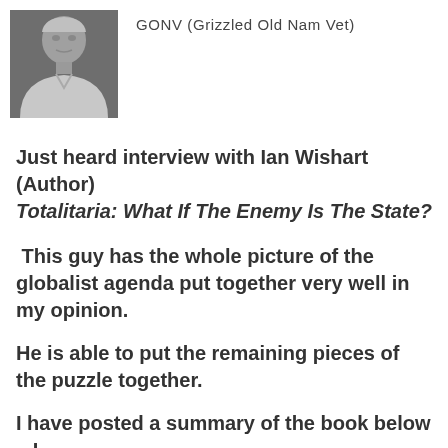[Figure (photo): Profile photo of an older man with a serious expression, wearing a light-colored shirt, black and white image.]
GONV (Grizzled Old Nam Vet)
Just heard interview with Ian Wishart (Author) Totalitaria: What If The Enemy Is The State?
This guy has the whole picture of the globalist agenda put together very well in my opinion.
He is able to put the remaining pieces of the puzzle together.
I have posted a summary of the book below – I